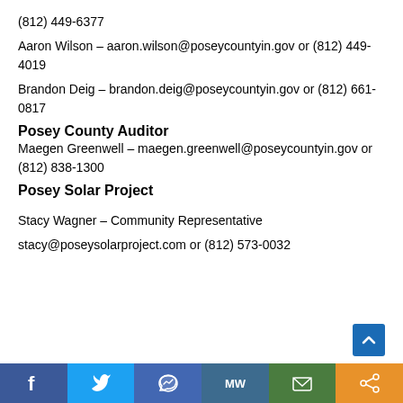(812) 449-6377
Aaron Wilson – aaron.wilson@poseycountyin.gov or (812) 449-4019
Brandon Deig – brandon.deig@poseycountyin.gov or (812) 661-0817
Posey County Auditor
Maegen Greenwell – maegen.greenwell@poseycountyin.gov or (812) 838-1300
Posey Solar Project
Stacy Wagner – Community Representative
stacy@poseysolarproject.com or (812) 573-0032